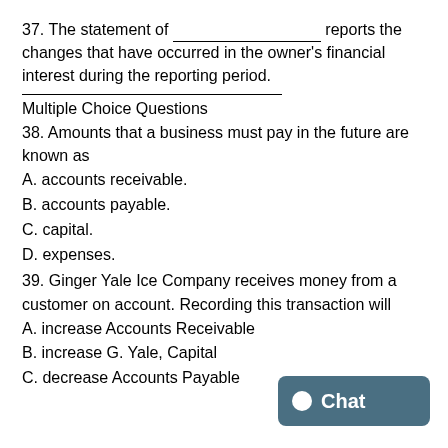37. The statement of _________________ reports the changes that have occurred in the owner's financial interest during the reporting period.
Multiple Choice Questions
38. Amounts that a business must pay in the future are known as
A. accounts receivable.
B. accounts payable.
C. capital.
D. expenses.
39. Ginger Yale Ice Company receives money from a customer on account. Recording this transaction will
A. increase Accounts Receivable
B. increase G. Yale, Capital
C. decrease Accounts Payable